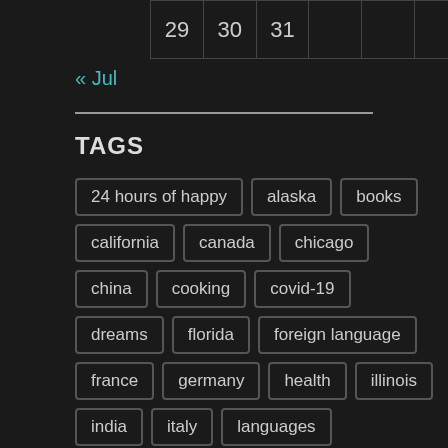| 29 | 30 | 31 |  |  |  |  |
« Jul
TAGS
24 hours of happy
alaska
books
california
canada
chicago
china
cooking
covid-19
dreams
florida
foreign language
france
germany
health
illinois
india
italy
languages